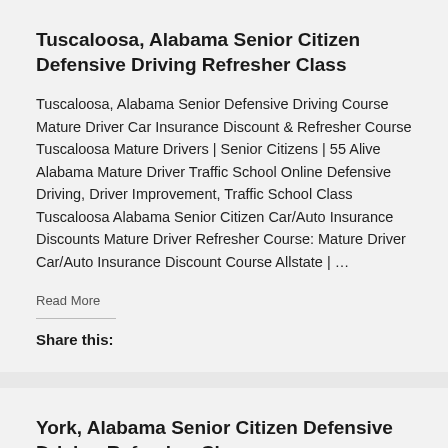Tuscaloosa, Alabama Senior Citizen Defensive Driving Refresher Class
Tuscaloosa, Alabama Senior Defensive Driving Course Mature Driver Car Insurance Discount & Refresher Course Tuscaloosa Mature Drivers | Senior Citizens | 55 Alive Alabama Mature Driver Traffic School Online Defensive Driving, Driver Improvement, Traffic School Class Tuscaloosa Alabama Senior Citizen Car/Auto Insurance Discounts Mature Driver Refresher Course: Mature Driver Car/Auto Insurance Discount Course Allstate | …
Read More
Share this:
York, Alabama Senior Citizen Defensive Driving Refresher Class